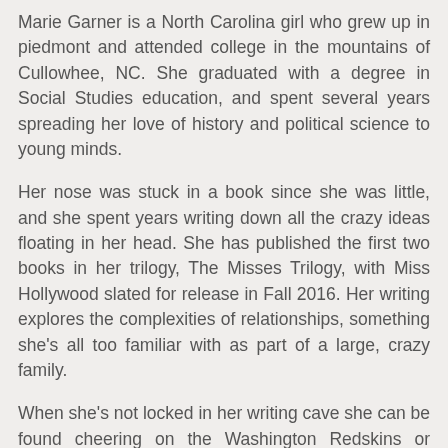Marie Garner is a North Carolina girl who grew up in piedmont and attended college in the mountains of Cullowhee, NC. She graduated with a degree in Social Studies education, and spent several years spreading her love of history and political science to young minds.
Her nose was stuck in a book since she was little, and she spent years writing down all the crazy ideas floating in her head. She has published the first two books in her trilogy, The Misses Trilogy, with Miss Hollywood slated for release in Fall 2016. Her writing explores the complexities of relationships, something she's all too familiar with as part of a large, crazy family.
When she's not locked in her writing cave she can be found cheering on the Washington Redskins or watching The Walking Dead, and thinks there's nothing sweeter than a cold Diet Coke.